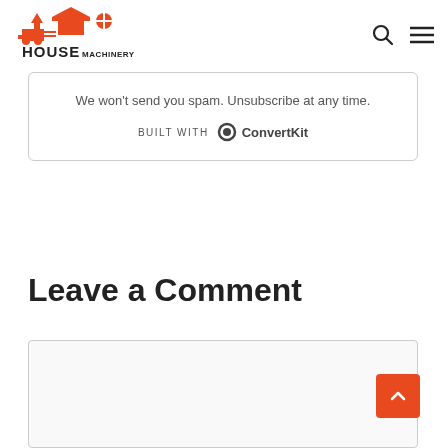House Machinery
We won't send you spam. Unsubscribe at any time.
BUILT WITH ConvertKit
Leave a Comment
[Figure (other): Empty comment text area input box]
[Figure (other): Scroll to top button with upward chevron arrow, orange background]